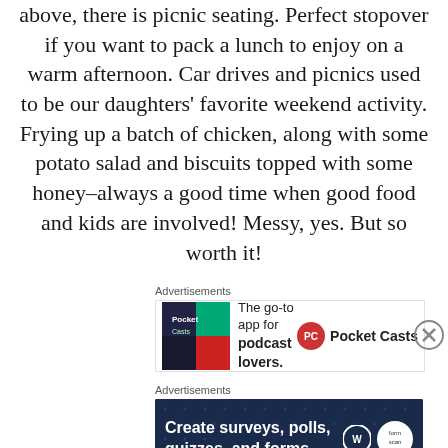above, there is picnic seating. Perfect stopover if you want to pack a lunch to enjoy on a warm afternoon. Car drives and picnics used to be our daughters' favorite weekend activity. Frying up a batch of chicken, along with some potato salad and biscuits topped with some honey–always a good time when good food and kids are involved! Messy, yes. But so worth it!
[Figure (other): Advertisement banner for Pocket Casts: 'The go-to app for podcast lovers.' with Pocket Casts logo]
[Figure (other): Advertisement banner: 'Create surveys, polls, quizzes, and forms.' with WordPress and another logo on dark navy background with dot pattern]